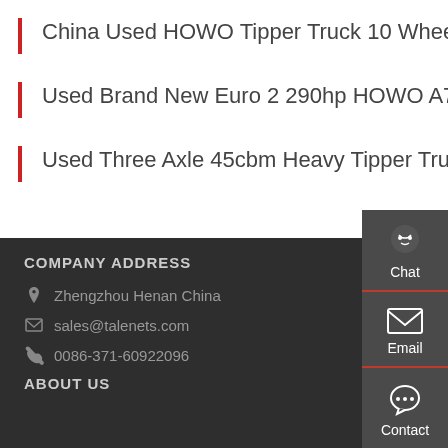China Used HOWO Tipper Truck 10 Wheels 6X4 Price
Used Brand New Euro 2 290hp HOWO A7 Tractor Head
Used Three Axle 45cbm Heavy Tipper Truck Tipper
[Figure (infographic): Side widget panel with Chat, Email, and Contact buttons with icons on dark background]
COMPANY ADDRESS
Zhengzhou Henan China
sales@talenets.com
0086-371-60922096
ABOUT US